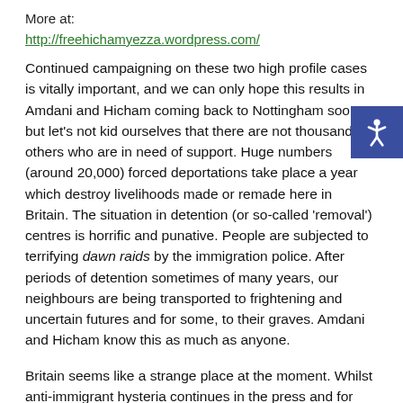More at:
http://freehichamyezza.wordpress.com/
Continued campaigning on these two high profile cases is vitally important, and we can only hope this results in Amdani and Hicham coming back to Nottingham soon, but let's not kid ourselves that there are not thousands of others who are in need of support. Huge numbers (around 20,000) forced deportations take place a year which destroy livelihoods made or remade here in Britain. The situation in detention (or so-called 'removal') centres is horrific and punative. People are subjected to terrifying dawn raids by the immigration police. After periods of detention sometimes of many years, our neighbours are being transported to frightening and uncertain futures and for some, to their graves. Amdani and Hicham know this as much as anyone.
Britain seems like a strange place at the moment. Whilst anti-immigrant hysteria continues in the press and for political